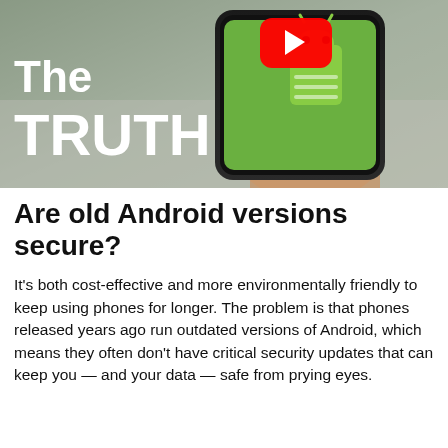[Figure (screenshot): Thumbnail image showing a hand holding a smartphone with Android and YouTube logos visible, with large white bold text overlay reading 'The TRUTH' on a blurred background]
Are old Android versions secure?
It's both cost-effective and more environmentally friendly to keep using phones for longer. The problem is that phones released years ago run outdated versions of Android, which means they often don't have critical security updates that can keep you — and your data — safe from prying eyes.